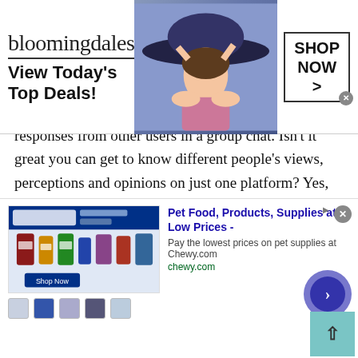[Figure (screenshot): Bloomingdale's advertisement banner at top: logo text 'bloomingdales', tagline 'View Today's Top Deals!', woman in large hat, 'SHOP NOW >' button box]
responses from other users in a group chat. Isn't it great you can get to know different people's views, perceptions and opinions on just one platform? Yes, for sure, yes. You don't need to search different chat sites rather all your queries will be resolved via online group chat.
And the best thing is you can chat anonymously with thousands of strangers online. Yes, your privacy is the utmost concern of TWS online group chat. If you don't want to share your real name then it's
[Figure (screenshot): Bottom advertisement for Chewy.com pet food and supplies with product images, title 'Pet Food, Products, Supplies at Low Prices -', description 'Pay the lowest prices on pet supplies at Chewy.com', URL 'chewy.com', navigation arrow button, and small product icons]